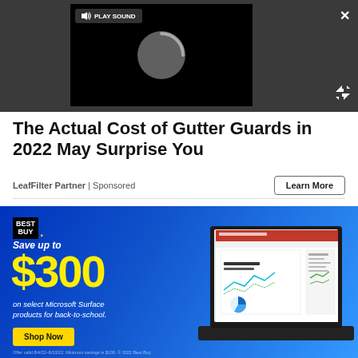[Figure (screenshot): Video player overlay with dark background showing a loading spinner and 'PLAY SOUND' button. Close (X) and expand buttons visible.]
The Actual Cost of Gutter Guards in 2022 May Surprise You
LeafFilter Partner | Sponsored
Learn More
[Figure (screenshot): Best Buy advertisement banner with blue gradient background. Text: 'Save up to $300 on select Microsoft Surface products for back-to-school.' Yellow Shop Now button and Best Buy logo. Laptop image on right side showing Microsoft PowerPoint with 'Gestural Robotics' slide.]